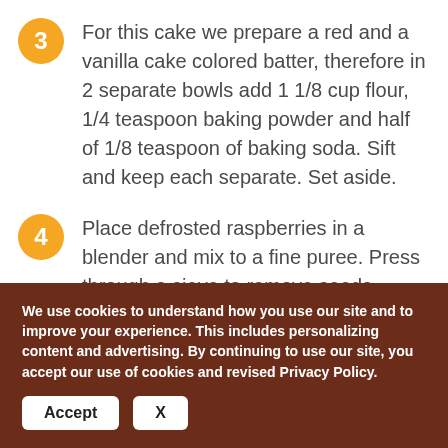3 For this cake we prepare a red and a vanilla cake colored batter, therefore in 2 separate bowls add 1 1/8 cup flour, 1/4 teaspoon baking powder and half of 1/8 teaspoon of baking soda. Sift and keep each separate. Set aside.
4 Place defrosted raspberries in a blender and mix to a fine puree. Press through a sieve to remove seeds. Measure 1/3 cup and add raspberry flavor. Set aside.
We use cookies to understand how you use our site and to improve your experience. This includes personalizing content and advertising. By continuing to use our site, you accept our use of cookies and revised Privacy Policy.